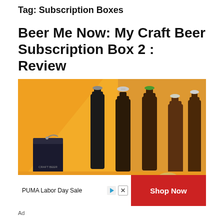Tag: Subscription Boxes
Beer Me Now: My Craft Beer Subscription Box 2 : Review
[Figure (photo): Several dark glass craft beer bottles with various bottle caps (silver, gold, green) standing upright against an orange background, with a black beer can in the foreground.]
PUMA Labor Day Sale
Ad